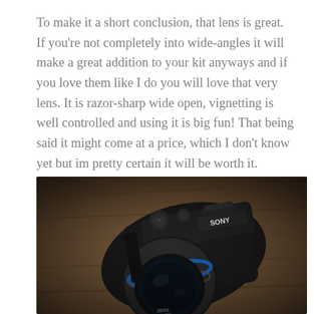To make it a short conclusion, that lens is great. If you're not completely into wide-angles it will make a great addition to your kit anyways and if you love them like I do you will love that very lens. It is razor-sharp wide open, vignetting is well controlled and using it is big fun! That being said it might come at a price, which I don't know yet but im pretty certain it will be worth it.
[Figure (photo): Top-down view of a Sony mirrorless camera with a Zeiss lens attached, placed on a wooden surface. The camera is black and shows the Sony logo on top.]